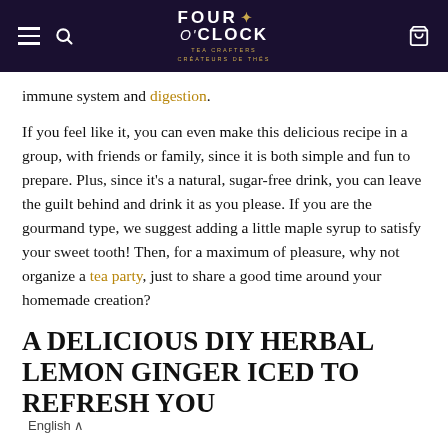Four O'Clock Tea Crafters — navigation header
immune system and digestion.
If you feel like it, you can even make this delicious recipe in a group, with friends or family, since it is both simple and fun to prepare. Plus, since it's a natural, sugar-free drink, you can leave the guilt behind and drink it as you please. If you are the gourmand type, we suggest adding a little maple syrup to satisfy your sweet tooth! Then, for a maximum of pleasure, why not organize a tea party, just to share a good time around your homemade creation?
A DELICIOUS DIY HERBAL LEMON GINGER ICED TO REFRESH YOU